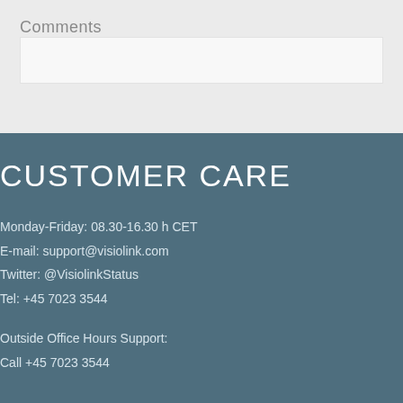Comments
CUSTOMER CARE
Monday-Friday: 08.30-16.30 h CET
E-mail: support@visiolink.com
Twitter: @VisiolinkStatus
Tel: +45 7023 3544
Outside Office Hours Support:
Call +45 7023 3544